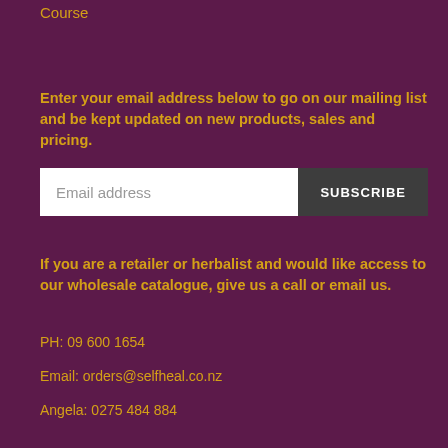Course
Enter your email address below to go on our mailing list and be kept updated on new products, sales and pricing.
Email address  SUBSCRIBE
If you are a retailer or herbalist and would like access to our wholesale catalogue, give us a call or email us.
PH: 09 600 1654
Email: orders@selfheal.co.nz
Angela: 0275 484 884